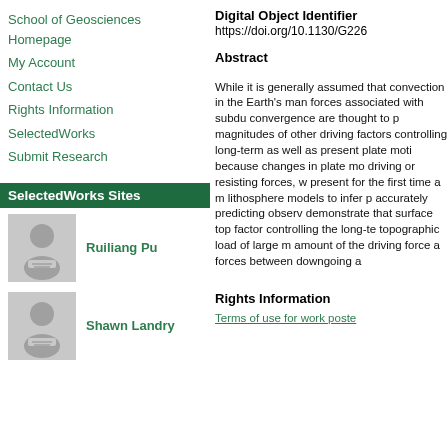School of Geosciences Homepage
My Account
Contact Us
Rights Information
SelectedWorks
Submit Research
SelectedWorks Sites
Ruiliang Pu
Shawn Landry
Digital Object Identifier
https://doi.org/10.1130/G226
Abstract
While it is generally assumed that convection in the Earth's man forces associated with subdu convergence are thought to p magnitudes of other driving factors controlling long-term as well as present plate moti because changes in plate mo driving or resisting forces, w present for the first time a m lithosphere models to infer p accurately predicting observ demonstrate that surface top factor controlling the long-te topographic load of large m amount of the driving force a forces between downgoing a
Rights Information
Terms of use for work poste